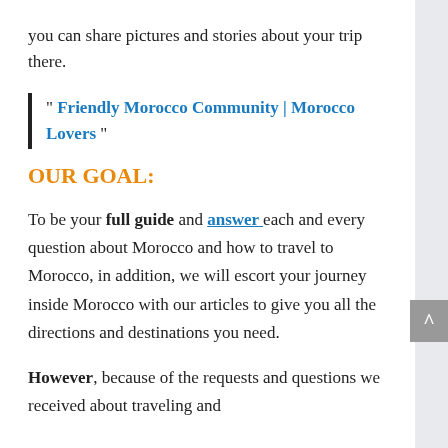you can share pictures and stories about your trip there.
" Friendly Morocco Community | Morocco Lovers "
OUR GOAL:
To be your full guide and answer each and every question about Morocco and how to travel to Morocco, in addition, we will escort your journey inside Morocco with our articles to give you all the directions and destinations you need.
However, because of the requests and questions we received about traveling and